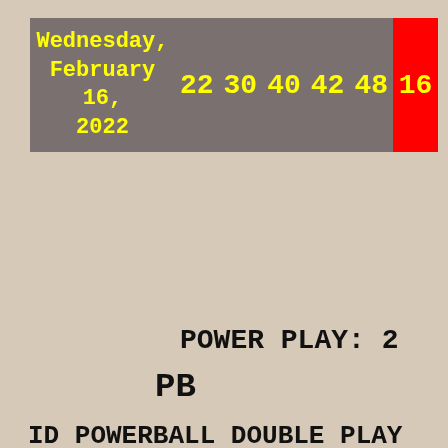| Date | 22 | 30 | 40 | 42 | 48 | 16 |
| --- | --- | --- | --- | --- | --- | --- |
| Wednesday, February 16, 2022 | 22 | 30 | 40 | 42 | 48 | 16 |
POWER PLAY: 2
PB
ID POWERBALL DOUBLE PLAY FEB 16 2022
| Date | Idaho Double | Red |
| --- | --- | --- |